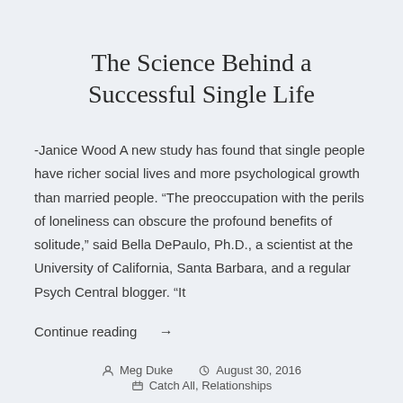The Science Behind a Successful Single Life
-Janice Wood A new study has found that single people have richer social lives and more psychological growth than married people. “The preoccupation with the perils of loneliness can obscure the profound benefits of solitude,” said Bella DePaulo, Ph.D., a scientist at the University of California, Santa Barbara, and a regular Psych Central blogger. “It
Continue reading →
Meg Duke   August 30, 2016   Catch All, Relationships